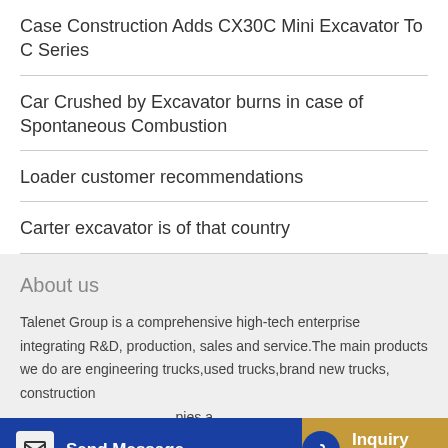Case Construction Adds CX30C Mini Excavator To C Series
Car Crushed by Excavator burns in case of Spontaneous Combustion
Loader customer recommendations
Carter excavator is of that country
About us
Talenet Group is a comprehensive high-tech enterprise integrating R&D, production, sales and service.The main products we do are engineering trucks,used trucks,brand new trucks, construction ... pies a... employee...